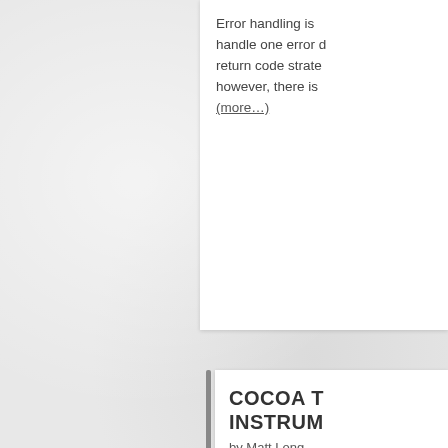Error handling is ... handle one error ... return code strate... however, there is ... (more...)
COCOA T... INSTRUM...
by Matt Long
[Figure (illustration): Leaks instrument icon — a silver faucet/pipe dripping water with blue drops, inside a rounded yellow-bordered card. Label 'Leaks' below the icon.]